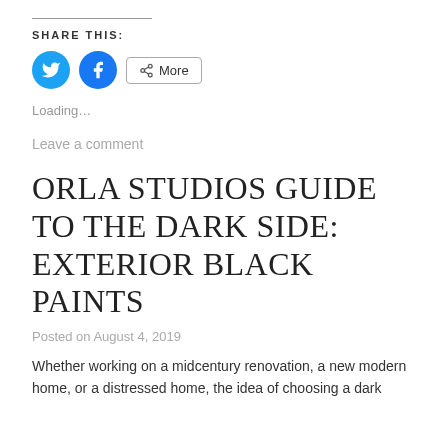SHARE THIS:
[Figure (infographic): Social share buttons: Twitter (blue circle with bird icon), Facebook (blue circle with f icon), and a 'More' button with share icon]
Loading…
Leave a comment
ORLA STUDIOS GUIDE TO THE DARK SIDE: EXTERIOR BLACK PAINTS
Posted on August 4, 2019
Whether working on a midcentury renovation, a new modern home, or a distressed home, the idea of choosing a dark paint…